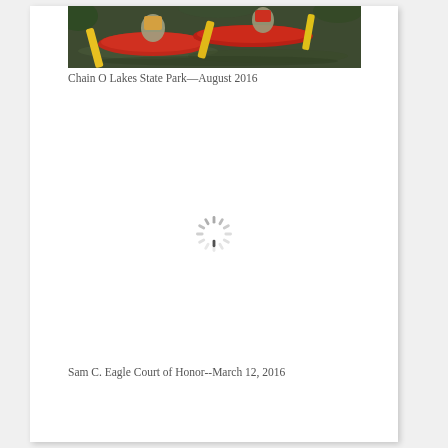[Figure (photo): Photo of people kayaking in red kayaks on dark water, with yellow paddles, at Chain O Lakes State Park]
Chain O Lakes State Park—August 2016
[Figure (other): Loading spinner icon (spinning wheel/sun rays graphic indicating image is loading)]
Sam C. Eagle Court of Honor--March 12, 2016